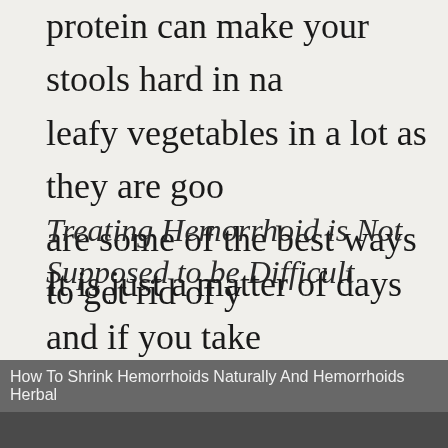protein can make your stools hard in na leafy vegetables in a lot as they are goo are some of the best ways to get rid of y
Treating Hemorrhoid is Not Supposed to be Difficult
It is just a matter of days and if you take little things you can get rid of this proble Natural treatments can do wonders for y even considering undergoing a surgery; definitely go for a natural cure that works
How To Shrink Hemorrhoids Naturally And Hemorrhoids Herbal